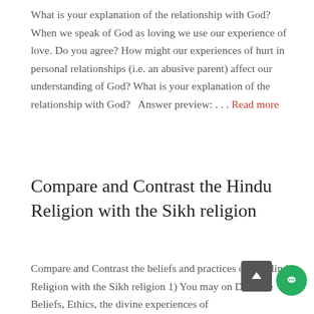What is your explanation of the relationship with God?  When we speak of God as loving we use our experience of love. Do you agree?  How might our experiences of hurt in personal relationships (i.e. an abusive parent) affect our understanding of God?  What is your explanation of the relationship with God?  Answer preview: . . . Read more
Compare and Contrast the Hindu Religion with the Sikh religion
Compare and Contrast the beliefs and practices of the Hindu Religion with the Sikh religion 1) You may on Doctrine Beliefs, Ethics, the divine experiences of